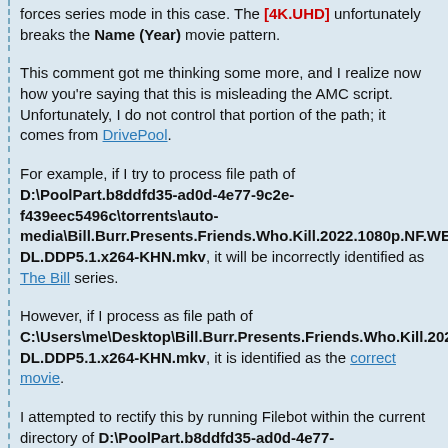forces series mode in this case. The [4K.UHD] unfortunately breaks the Name (Year) movie pattern.
This comment got me thinking some more, and I realize now how you're saying that this is misleading the AMC script. Unfortunately, I do not control that portion of the path; it comes from DrivePool.
For example, if I try to process file path of D:\PoolPart.b8ddfd35-ad0d-4e77-9c2e-f439eec5496c\torrents\auto-media\Bill.Burr.Presents.Friends.Who.Kill.2022.1080p.NF.WEB-DL.DDP5.1.x264-KHN.mkv, it will be incorrectly identified as The Bill series.
However, if I process as file path of C:\Users\me\Desktop\Bill.Burr.Presents.Friends.Who.Kill.2022.1080p.NF.WEB-DL.DDP5.1.x264-KHN.mkv, it is identified as the correct movie.
I attempted to rectify this by running Filebot within the current directory of D:\PoolPart.b8ddfd35-ad0d-4e77-